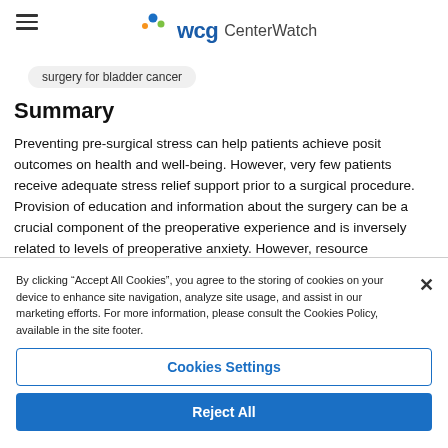WCG CenterWatch
surgery for bladder cancer
Summary
Preventing pre-surgical stress can help patients achieve positive outcomes on health and well-being. However, very few patients receive adequate stress relief support prior to a surgical procedure. Provision of education and information about the surgery can be a crucial component of the preoperative experience and is inversely related to levels of preoperative anxiety. However, resource constraints make face-to-face education sessions untenable, given
By clicking “Accept All Cookies”, you agree to the storing of cookies on your device to enhance site navigation, analyze site usage, and assist in our marketing efforts. For more information, please consult the Cookies Policy, available in the site footer.
Cookies Settings
Reject All